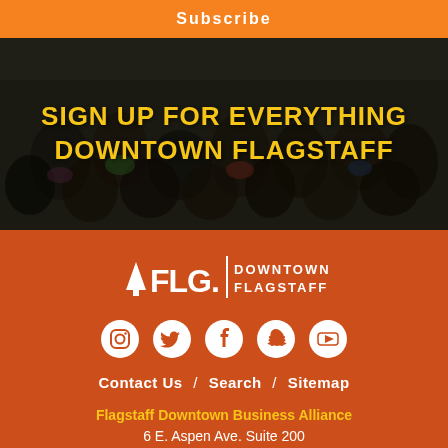Subscribe
SIGN UP FOR EVERYTHING DOWNTOWN FLAGSTAFF
[Figure (logo): FLG. Downtown Flagstaff logo in white on orange background]
[Figure (infographic): Social media icons: Instagram, Twitter, Facebook, Snapchat, YouTube]
Contact Us / Search / Sitemap
Flagstaff Downtown Business Alliance
6 E. Aspen Ave. Suite 200
Flagstaff, AZ 86001